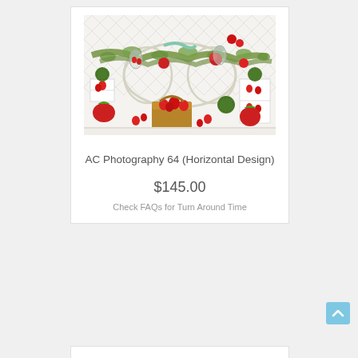[Figure (photo): Photography backdrop product photo showing a garden-themed scene with strawberries in a basket, red flowers, green topiary balls, white lattice backdrop, red strawberry decorations, and white cube shelving with assorted berries.]
AC Photography 64 (Horizontal Design)
$145.00
Check FAQs for Turn Around Time